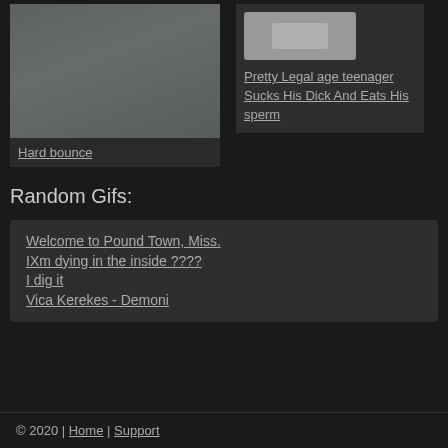[Figure (photo): Thumbnail image of adult content]
Hard bounce
[Figure (photo): Thumbnail image placeholder (gray box)]
Pretty Legal age teenager Sucks His Dick And Eats His sperm
Random Gifs:
Welcome to Pound Town, Miss.
IXm dying in the inside ????
I dig it
Vica Kerekes - Demoni
© 2020 | Home | Support